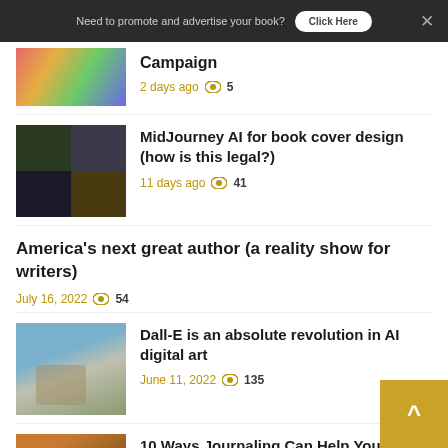Need to promote and advertise your book? Click Here
Campaign — 2 days ago 👁 5
MidJourney AI for book cover design (how is this legal?) — 11 days ago 👁 41
America's next great author (a reality show for writers) — July 16, 2022 👁 54
Dall-E is an absolute revolution in AI digital art — June 11, 2022 👁 135
10 Ways Journaling Can Help You Find the Next